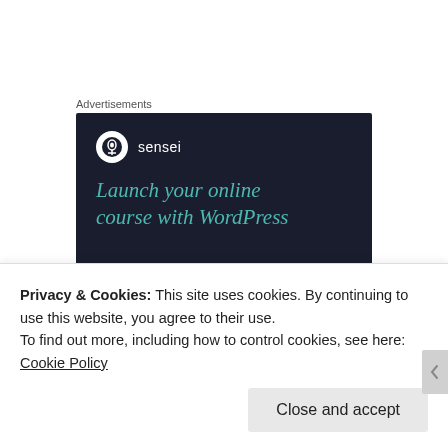Advertisements
[Figure (illustration): Sensei advertisement banner with dark navy background. Shows Sensei logo (tree icon in white circle) and brand name, with teal italic text reading 'Launch your online course with WordPress']
thetravellush
Privacy & Cookies: This site uses cookies. By continuing to use this website, you agree to their use.
To find out more, including how to control cookies, see here:
Cookie Policy
Close and accept